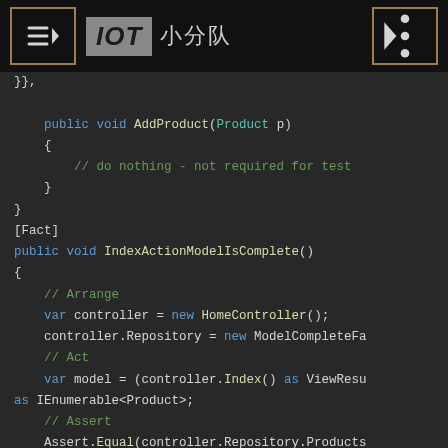IOT 小分队
[Figure (screenshot): C# code snippet showing AddProduct method and IndexActionModelIsComplete test method with Arrange/Act/Assert sections]